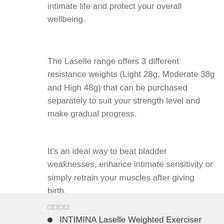intimate life and protect your overall wellbeing.
The Laselle range offers 3 different resistance weights (Light 28g, Moderate 38g and High 48g) that can be purchased separately to suit your strength level and make gradual progress.
It’s an ideal way to beat bladder weaknesses, enhance intimate sensitivity or simply retrain your muscles after giving birth.
□□□□
INTIMINA Laselle Weighted Exerciser